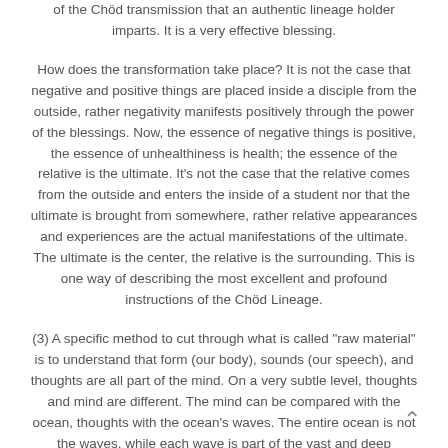of the Chöd transmission that an authentic lineage holder imparts. It is a very effective blessing.
How does the transformation take place? It is not the case that negative and positive things are placed inside a disciple from the outside, rather negativity manifests positively through the power of the blessings. Now, the essence of negative things is positive, the essence of unhealthiness is health; the essence of the relative is the ultimate. It's not the case that the relative comes from the outside and enters the inside of a student nor that the ultimate is brought from somewhere, rather relative appearances and experiences are the actual manifestations of the ultimate. The ultimate is the center, the relative is the surrounding. This is one way of describing the most excellent and profound instructions of the Chöd Lineage.
(3) A specific method to cut through what is called "raw material" is to understand that form (our body), sounds (our speech), and thoughts are all part of the mind. On a very subtle level, thoughts and mind are different. The mind can be compared with the ocean, thoughts with the ocean's waves. The entire ocean is not the waves, while each wave is part of the vast and deep